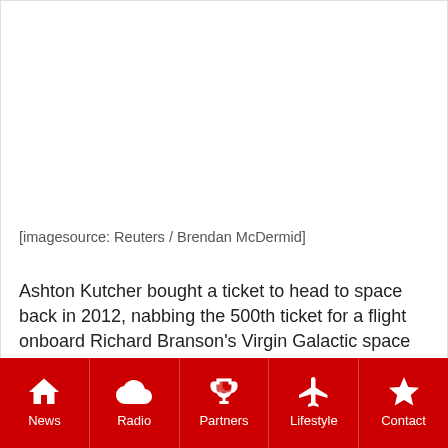[Figure (photo): Blank/white image placeholder area]
[imagesource: Reuters / Brendan McDermid]
Ashton Kutcher bought a ticket to head to space back in 2012, nabbing the 500th ticket for a flight onboard Richard Branson's Virgin Galactic space rocket.
News | Radio | Partners | Lifestyle | Contact